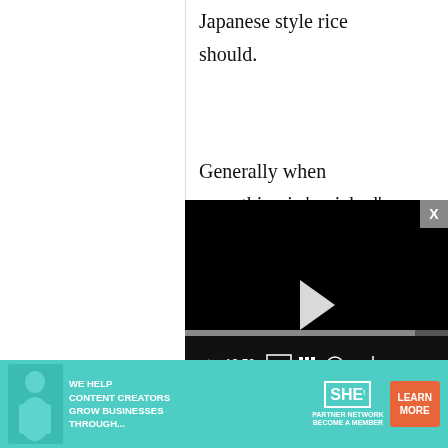Japanese style rice should.
Generally when something is 'enriched', e.g. bread, cereals and
[Figure (screenshot): Embedded video player overlay with black background, play button, progress bar showing 13:52 timestamp, and media controls including mute, CC, grid, settings, and fullscreen buttons. Close X button in top right corner.]
mixed in some artificial vitamins
[Figure (screenshot): Advertisement banner for SHE Media Partner Network. Teal/turquoise background with woman figure, text 'WE HELP CONTENT CREATORS GROW BUSINESSES THROUGH...', SHE logo, and orange 'LEARN MORE' button.]